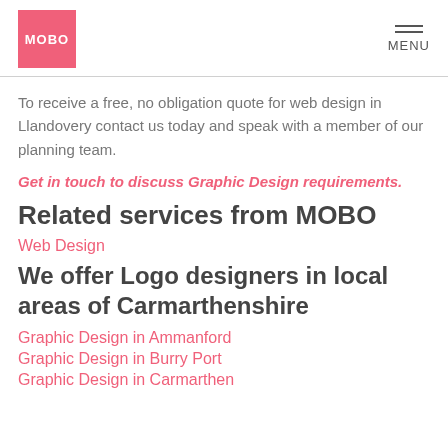MOBO | MENU
To receive a free, no obligation quote for web design in Llandovery contact us today and speak with a member of our planning team.
Get in touch to discuss Graphic Design requirements.
Related services from MOBO
Web Design
We offer Logo designers in local areas of Carmarthenshire
Graphic Design in Ammanford
Graphic Design in Burry Port
Graphic Design in Carmarthen